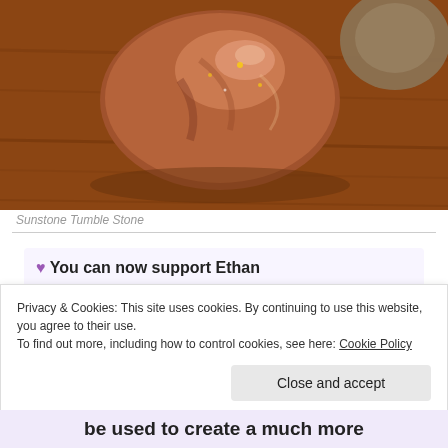[Figure (photo): A polished reddish-brown sunstone tumble stone sitting on a wooden surface, with another stone partially visible in the background.]
Sunstone Tumble Stone
💜 You can now support Ethan and say thank you with buy me
Privacy & Cookies: This site uses cookies. By continuing to use this website, you agree to their use.
To find out more, including how to control cookies, see here: Cookie Policy
Close and accept
be used to create a much more